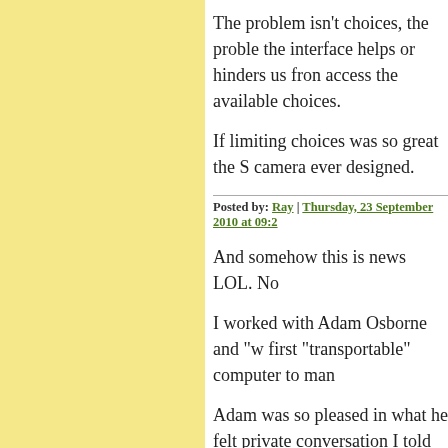The problem isn't choices, the interface helps or hinders us from access the available choices.
If limiting choices was so great the S camera ever designed.
Posted by: Ray | Thursday, 23 September 2010 at 09:2
And somehow this is news LOL. No
I worked with Adam Osborne and "w first "transportable" computer to man
Adam was so pleased in what he felt private conversation I told him "we l humanity to which we would ever be our being"
We laughed over whether it was the we be freeing mankind to a work we